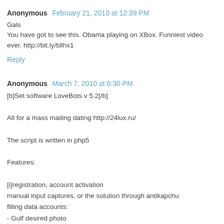Anonymous  February 21, 2010 at 12:39 PM
Gals
You have got to see this. Obama playing on XBox. Funniest video ever. http://bit.ly/bllhx1
Reply
Anonymous  March 7, 2010 at 6:30 PM
[b]Set software LoveBots v 5.2[/b]

All for a mass mailing dating http://24lux.ru/

The script is written in php5

Features:

[i]registration, account activation
manual input captures, or the solution through antikapchu
filling data accounts:
- Gulf desired photo
- Инфу about yourself